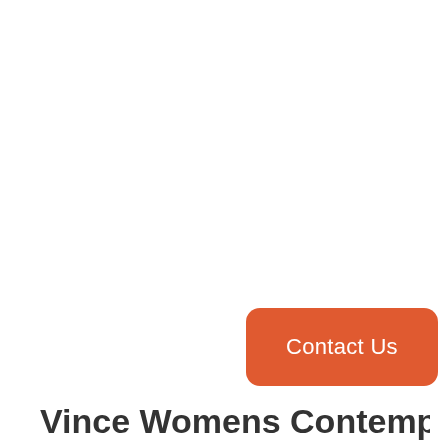[Figure (other): Orange rounded rectangle button labeled 'Contact Us' positioned in the lower-right area of the page]
Vince Womens Contemporary